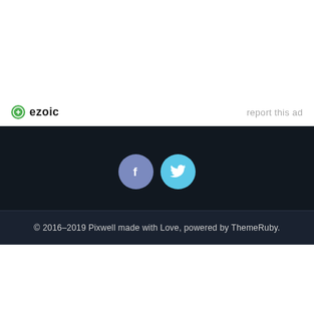[Figure (logo): Ezoic logo with green circular icon and bold text 'ezoic', with 'report this ad' link on the right]
[Figure (infographic): Dark footer bar with Facebook and Twitter circular social media icon buttons]
© 2016–2019 Pixwell made with Love, powered by ThemeRuby.